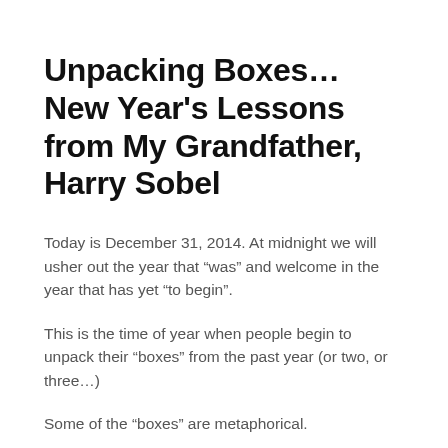Unpacking Boxes…New Year's Lessons from My Grandfather, Harry Sobel
Today is December 31, 2014. At midnight we will usher out the year that “was” and welcome in the year that has yet “to begin”.
This is the time of year when people begin to unpack their “boxes” from the past year (or two, or three…)
Some of the “boxes” are metaphorical.